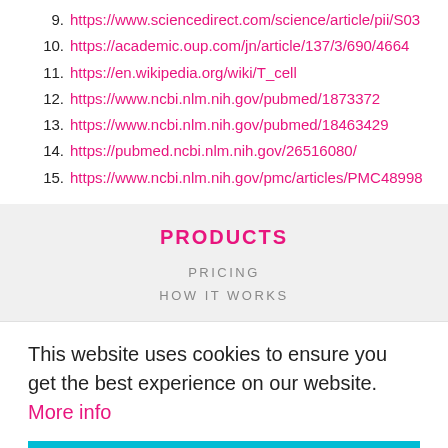9. https://www.sciencedirect.com/science/article/pii/S03...
10. https://academic.oup.com/jn/article/137/3/690/4664...
11. https://en.wikipedia.org/wiki/T_cell
12. https://www.ncbi.nlm.nih.gov/pubmed/1873372
13. https://www.ncbi.nlm.nih.gov/pubmed/18463429
14. https://pubmed.ncbi.nlm.nih.gov/26516080/
15. https://www.ncbi.nlm.nih.gov/pmc/articles/PMC48998...
PRODUCTS
PRICING
HOW IT WORKS
This website uses cookies to ensure you get the best experience on our website. More info
Okay!